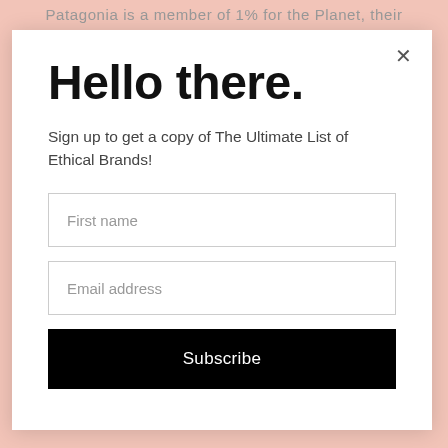Patagonia is a member of 1% for the Planet, their
Hello there.
Sign up to get a copy of The Ultimate List of Ethical Brands!
First name
Email address
Subscribe